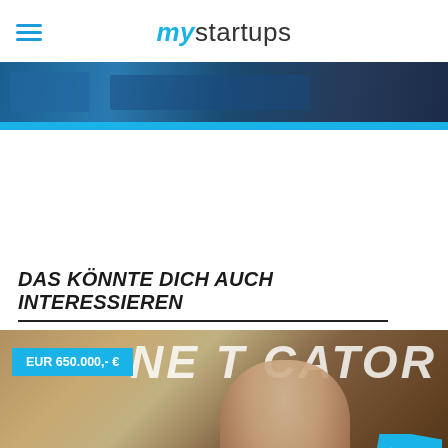mystartups
[Figure (photo): Hero image of people working at computers with cyan/blue accent bar at bottom]
DAS KÖNNTE DICH AUCH INTERESSIEREN
[Figure (photo): Article thumbnail showing a man in a suit in front of gold NE EDUCATOR lettering, with EUR 650.000,-€ price badge, laptop in foreground, and News+Video badge in corner]